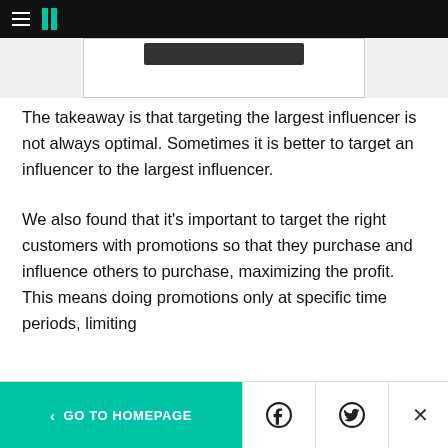HuffPost navigation bar with hamburger menu and logo
[Figure (screenshot): Partially visible image stub with dark rectangle and bordered frame]
The takeaway is that targeting the largest influencer is not always optimal. Sometimes it is better to target an influencer to the largest influencer.
We also found that it’s important to target the right customers with promotions so that they purchase and influence others to purchase, maximizing the profit. This means doing promotions only at specific time periods, limiting
< GO TO HOMEPAGE  [Facebook icon] [Twitter icon] [X/close icon]